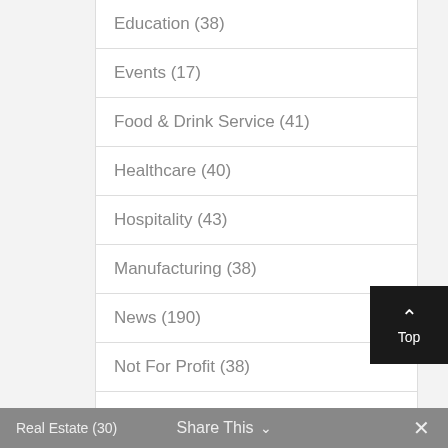Education (38)
Events (17)
Food & Drink Service (41)
Healthcare (40)
Hospitality (43)
Manufacturing (38)
News (190)
Not For Profit (38)
Other Services (38)
Properties (1)
Real Estate (30)  Share This  ✕